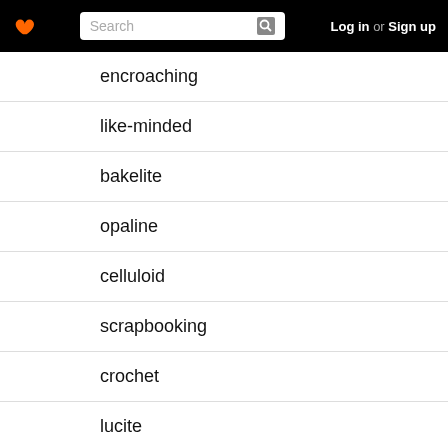Search | Log in or Sign up
encroaching
like-minded
bakelite
opaline
celluloid
scrapbooking
crochet
lucite
reticule